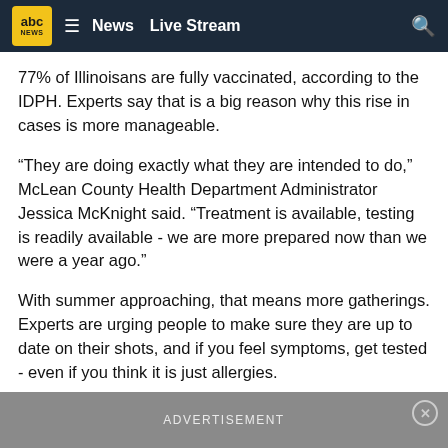abc News  Live Stream
77% of Illinoisans are fully vaccinated, according to the IDPH. Experts say that is a big reason why this rise in cases is more manageable.
“They are doing exactly what they are intended to do,” McLean County Health Department Administrator Jessica McKnight said. “Treatment is available, testing is readily available - we are more prepared now than we were a year ago.”
With summer approaching, that means more gatherings. Experts are urging people to make sure they are up to date on their shots, and if you feel symptoms, get tested - even if you think it is just allergies.
ADVERTISEMENT